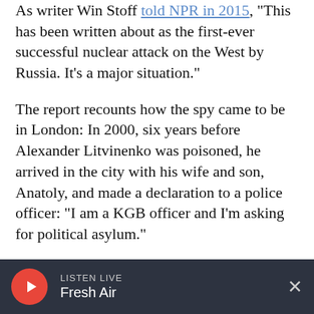As writer Win Stoff told NPR in 2015, "This has been written about as the first-ever successful nuclear attack on the West by Russia. It's a major situation."
The report recounts how the spy came to be in London: In 2000, six years before Alexander Litvinenko was poisoned, he arrived in the city with his wife and son, Anatoly, and made a declaration to a police officer: "I am a KGB officer and I'm asking for political asylum."
Litvinenko was 44 when he died in 2006 of cardiac arrest brought on by acute radiation
LISTEN LIVE Fresh Air